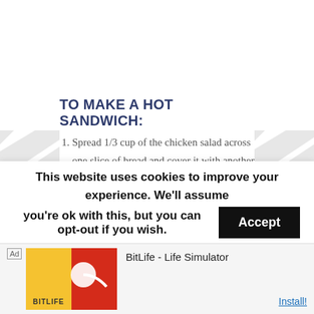TO MAKE A HOT SANDWICH:
Spread 1/3 cup of the chicken salad across one slice of bread and cover it with another slice. Spread 1 tablespoon of light butter across the outside surfaces of the bread (split the amount between the 2 slices). Place in a skillet and cook over medium-low for 2-3 minutes until the bottom is golden. Flip the sandwich and cook for another 1-2 minutes until the other
This website uses cookies to improve your experience. We'll assume you're ok with this, but you can opt-out if you wish.
Ad BitLife - Life Simulator Install!